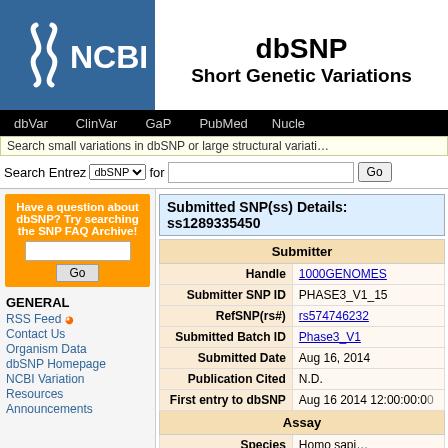[Figure (logo): NCBI logo with snake symbol on blue background]
dbSNP
Short Genetic Variations
dbVar | ClinVar | GaP | PubMed | Nucle...
Search small variations in dbSNP or large structural variati...
Search Entrez dbSNP for [search box] Go
Have a question about dbSNP? Try searching the SNP FAQ Archive!
GENERAL
RSS Feed
Contact Us
Organism Data
dbSNP Homepage
NCBI Variation
Resources
Announcements
Submitted SNP(ss) Details: ss1289335450
| Submitter |
| --- |
| Handle | 1000GENOMES |
| Submitter SNP ID | PHASE3_V1_15 |
| RefSNP(rs#) | rs574746232 |
| Submitted Batch ID | Phase3_V1 |
| Submitted Date | Aug 16, 2014 |
| Publication Cited | N.D. |
| First entry to dbSNP | Aug 16 2014 12:00:00:00 |
| Assay |  |
| Species | Homo sapi... |
| Molecular Type | Genomic |